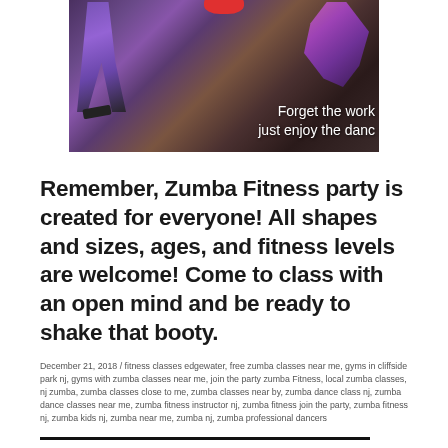[Figure (photo): Zumba dancers photo with text overlay reading 'Forget the work just enjoy the danc' (partially cropped), featuring figures in purple and pink dance poses on a dark background with a red circle element at top]
Remember, Zumba Fitness party is created for everyone! All shapes and sizes, ages, and fitness levels are welcome! Come to class with an open mind and be ready to shake that booty.
December 21, 2018  /  fitness classes edgewater, free zumba classes near me, gyms in cliffside park nj, gyms with zumba classes near me, join the party zumba Fitness, local zumba classes, nj zumba, zumba classes close to me, zumba classes near by, zumba dance class nj, zumba dance classes near me, zumba fitness instructor nj, zumba fitness join the party, zumba fitness nj, zumba kids nj, zumba near me, zumba nj, zumba professional dancers